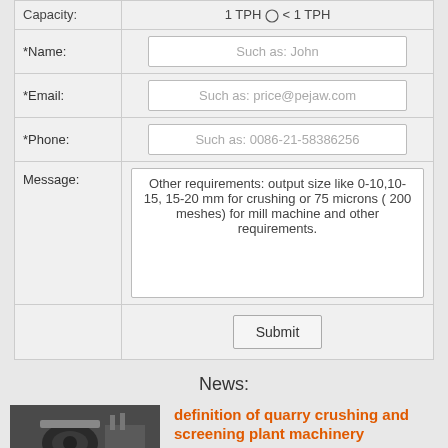| Field | Value |
| --- | --- |
| Capacity: | 1 TPH ○ < 1 TPH |
| *Name: | Such as: John |
| *Email: | Such as: price@pejaw.com |
| *Phone: | Such as: 0086-21-58386256 |
| Message: | Other requirements: output size like 0-10,10-15, 15-20 mm for crushing or 75 microns ( 200 meshes) for mill machine and other requirements. |
|  | Submit |
News:
[Figure (photo): Industrial machinery photo showing quarry crushing equipment]
definition of quarry crushing and screening plant machinery